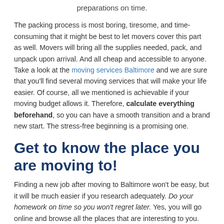preparations on time.
The packing process is most boring, tiresome, and time-consuming that it might be best to let movers cover this part as well. Movers will bring all the supplies needed, pack, and unpack upon arrival. And all cheap and accessible to anyone. Take a look at the moving services Baltimore and we are sure that you'll find several moving services that will make your life easier. Of course, all we mentioned is achievable if your moving budget allows it. Therefore, calculate everything beforehand, so you can have a smooth transition and a brand new start. The stress-free beginning is a promising one.
Get to know the place you are moving to!
Finding a new job after moving to Baltimore won't be easy, but it will be much easier if you research adequately. Do your homework on time so you won't regret later. Yes, you will go online and browse all the places that are interesting to you. You will check all those area-specific job-seeking